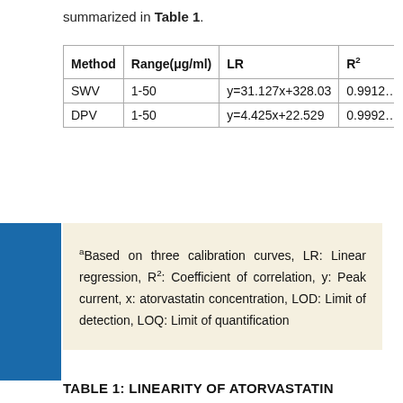summarized in Table 1.
| Method | Range(μg/ml) | LR | R² |
| --- | --- | --- | --- |
| SWV | 1-50 | y=31.127x+328.03 | 0.9912… |
| DPV | 1-50 | y=4.425x+22.529 | 0.9992… |
aBased on three calibration curves, LR: Linear regression, R²: Coefficient of correlation, y: Peak current, x: atorvastatin concentration, LOD: Limit of detection, LOQ: Limit of quantification
TABLE 1: LINEARITY OF ATORVASTATIN